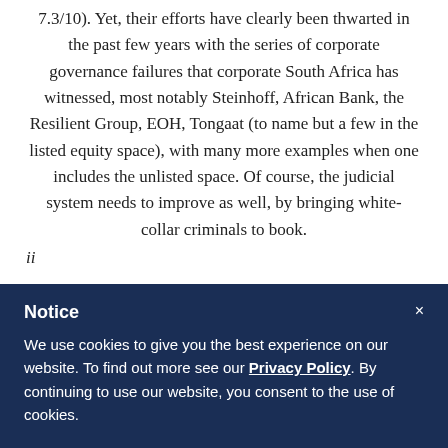7.3/10). Yet, their efforts have clearly been thwarted in the past few years with the series of corporate governance failures that corporate South Africa has witnessed, most notably Steinhoff, African Bank, the Resilient Group, EOH, Tongaat (to name but a few in the listed equity space), with many more examples when one includes the unlisted space. Of course, the judicial system needs to improve as well, by bringing white-collar criminals to book.
Notice
×
We use cookies to give you the best experience on our website. To find out more see our Privacy Policy. By continuing to use our website, you consent to the use of cookies.